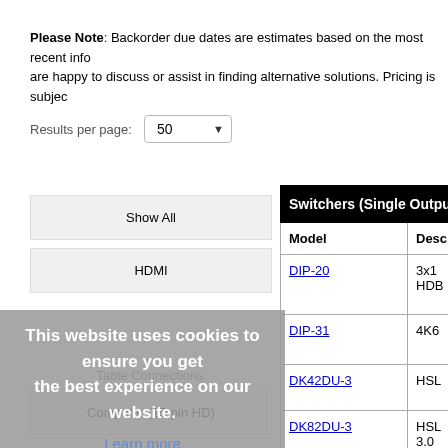Please Note: Backorder due dates are estimates based on the most recent info are happy to discuss or assist in finding alternative solutions. Pricing is subjec
Results per page: 50
Show All
HDMI
Table Connections
Computer (15-pin HD)
| Switchers (Single Output) - Com | Model | Desc |
| --- | --- | --- |
| DIP-20 | 3x1 HDB |
| DIP-31 | 4K6 |
| DK42DU-3 | HSL |
| DK82DU-3 | HSL 3.0 |
| DK42D-3 | HSL |
| DK42P-3 | HSL |
| DK42PU-3 | HSL |
This website uses cookies to ensure you get the best experience on our website. Learn more Got it!